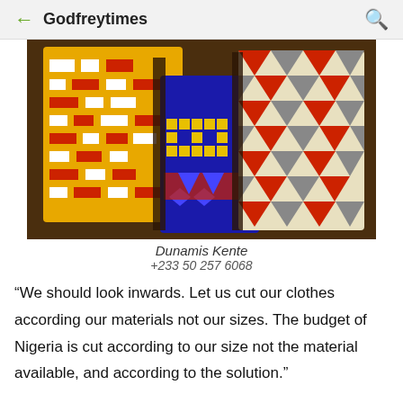Godfreytimes
[Figure (photo): Colorful folded Kente cloth fabrics with geometric patterns in red, yellow, white, blue, and grey, placed on a wooden surface.]
Dunamis Kente
+233 50 257 6068
“We should look inwards. Let us cut our clothes according our materials not our sizes. The budget of Nigeria is cut according to our size not the material available, and according to the solution.”